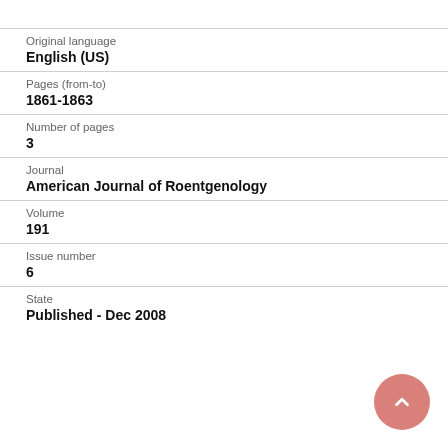Original language
English (US)
Pages (from-to)
1861-1863
Number of pages
3
Journal
American Journal of Roentgenology
Volume
191
Issue number
6
State
Published - Dec 2008